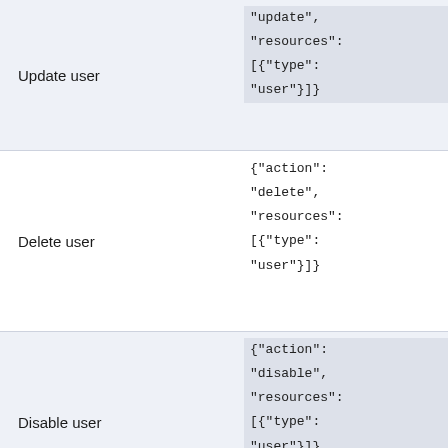| Action | Permission Object |
| --- | --- |
| Update user | "update",
"resources":
[{"type":
"user"}] |
| Delete user | {"action":
"delete",
"resources":
[{"type":
"user"}] |
| Disable user | {"action":
"disable",
"resources":
[{"type":
"user"}] |
| Enable user | {"action":
"enable",
"resources":
[{"type": |